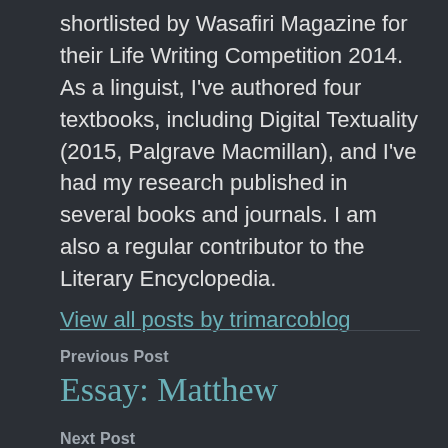shortlisted by Wasafiri Magazine for their Life Writing Competition 2014. As a linguist, I've authored four textbooks, including Digital Textuality (2015, Palgrave Macmillan), and I've had my research published in several books and journals. I am also a regular contributor to the Literary Encyclopedia.
View all posts by trimarcoblog
Previous Post
Essay: Matthew
Next Post